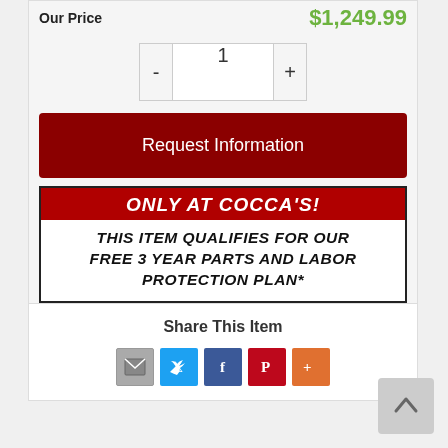Our Price   $1,249.99
- 1 +
Request Information
[Figure (infographic): Promotional banner: 'ONLY AT COCCA'S! THIS ITEM QUALIFIES FOR OUR FREE 3 YEAR PARTS AND LABOR PROTECTION PLAN*']
*Restrictions Apply
Share This Item
[Figure (infographic): Social sharing icons: email, Twitter, Facebook, Pinterest, More]
[Figure (other): Back to top arrow button]